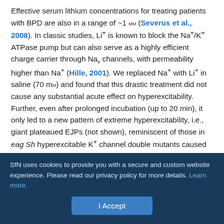Effective serum lithium concentrations for treating patients with BPD are also in a range of ~1 mM (Severus et al., 2008). In classic studies, Li+ is known to block the Na+/K+ ATPase pump but can also serve as a highly efficient charge carrier through Nav channels, with permeability higher than Na+ (Hille, 2001). We replaced Na+ with Li+ in saline (70 mM) and found that this drastic treatment did not cause any substantial acute effect on hyperexcitability. Further, even after prolonged incubation (up to 20 min), it only led to a new pattern of extreme hyperexcitability, i.e., giant plateaued EJPs (not shown), reminiscent of those in eag Sh hyperexcitable K+ channel double mutants caused by high-frequency bursting of motor axon action potentials (Ganetzky and Wu, 1982). Consistently, LiCl at 1 or 70 mM did not produce any acute effect on wild-type larvae to generate
SfN uses cookies to provide you with a secure and custom website experience. Please read our privacy policy for more details. Learn more.